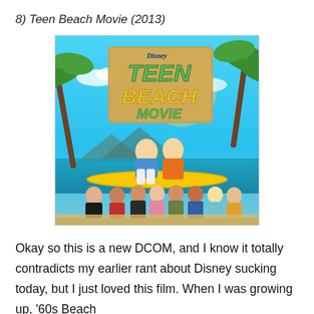8) Teen Beach Movie (2013)
[Figure (photo): Movie poster for Disney's Teen Beach Movie (2013). Features two main characters (a boy in blue and a girl in a floral dress) sitting on a yellow surfboard held up by a group of teens. Tropical beach background with palm trees and blue sky. Large stylized green and gold 'Teen Beach Movie' logo at top with Disney branding.]
Okay so this is a new DCOM, and I know it totally contradicts my earlier rant about Disney sucking today, but I just loved this film. When I was growing up, '60s Beach